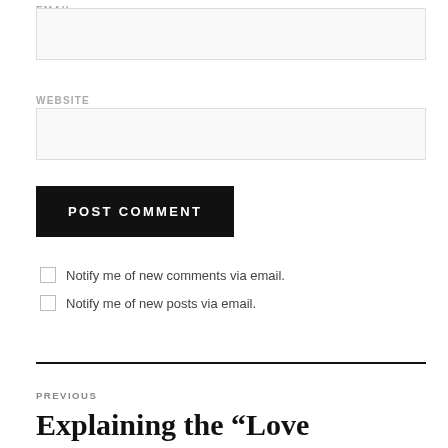EMAIL
WEBSITE
POST COMMENT
Notify me of new comments via email.
Notify me of new posts via email.
PREVIOUS
Explaining the “Love